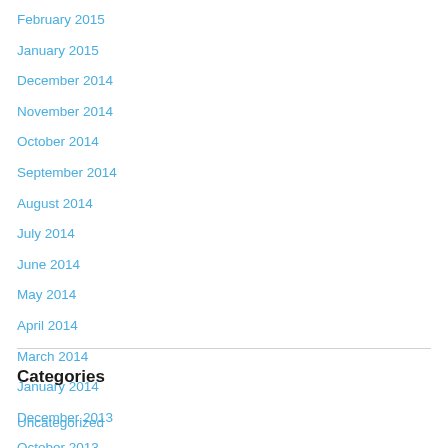February 2015
January 2015
December 2014
November 2014
October 2014
September 2014
August 2014
July 2014
June 2014
May 2014
April 2014
March 2014
January 2014
December 2013
October 2013
Categories
Uncategorized